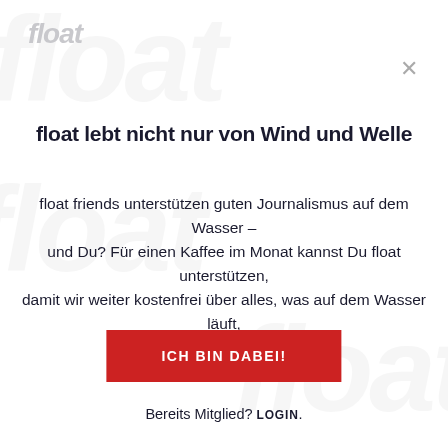float
float lebt nicht nur von Wind und Welle
float friends unterstützen guten Journalismus auf dem Wasser – und Du? Für einen Kaffee im Monat kannst Du float unterstützen, damit wir weiter kostenfrei über alles, was auf dem Wasser läuft, berichten können.
[Figure (other): Red call-to-action button with text ICH BIN DABEI!]
Bereits Mitglied? LOGIN.